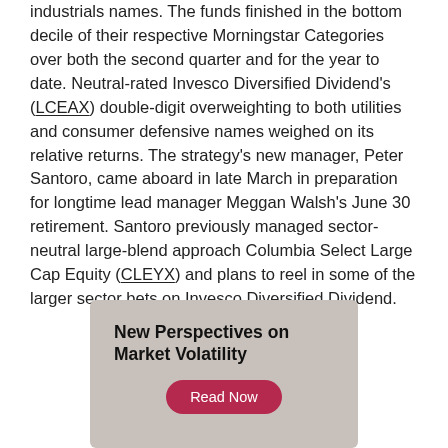industrials names. The funds finished in the bottom decile of their respective Morningstar Categories over both the second quarter and for the year to date. Neutral-rated Invesco Diversified Dividend's (LCEAX) double-digit overweighting to both utilities and consumer defensive names weighed on its relative returns. The strategy's new manager, Peter Santoro, came aboard in late March in preparation for longtime lead manager Meggan Walsh's June 30 retirement. Santoro previously managed sector-neutral large-blend approach Columbia Select Large Cap Equity (CLEYX) and plans to reel in some of the larger sector bets on Invesco Diversified Dividend.
[Figure (infographic): Advertisement box with gray background. Title reads 'New Perspectives on Market Volatility' in bold. A dark pink/red rounded button reads 'Read Now'.]